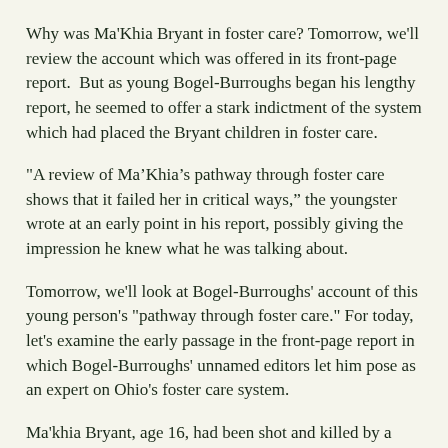Why was Ma'Khia Bryant in foster care? Tomorrow, we'll review the account which was offered in its front-page report.  But as young Bogel-Burroughs began his lengthy report, he seemed to offer a stark indictment of the system which had placed the Bryant children in foster care.
"A review of Ma’Khia’s pathway through foster care shows that it failed her in critical ways,” the youngster wrote at an early point in his report, possibly giving the impression he knew what he was talking about.
Tomorrow, we'll look at Bogel-Burroughs' account of this young person's "pathway through foster care." For today, let's examine the early passage in the front-page report in which Bogel-Burroughs' unnamed editors let him pose as an expert on Ohio's foster care system.
Ma'khia Bryant, age 16, had been shot and killed by a Columbus police officer. In this case, though, bodycam video had interrupted a prevailing Standard Narrative, in a way Bogel-Burroughs quickly described: